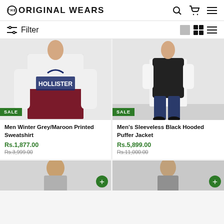THE ORIGINAL WEARS
Filter
[Figure (photo): Man wearing Hollister grey and maroon printed sweatshirt, SALE badge]
Men Winter Grey/Maroon Printed Sweatshirt
Rs.1,877.00   Rs.3,999.00
[Figure (photo): Man wearing sleeveless black hooded puffer jacket over white shirt, SALE badge]
Men's Sleeveless Black Hooded Puffer Jacket
Rs.5,899.00
Rs.11,000.00
[Figure (photo): Partial image of man, bottom of second product row, left]
[Figure (photo): Partial image of man, bottom of second product row, right]